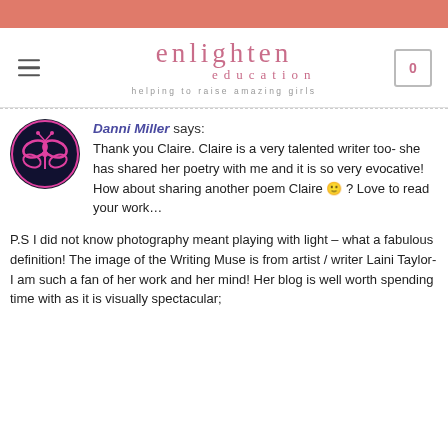enlighten education — helping to raise amazing girls
[Figure (logo): Circular avatar with pink butterfly on dark background — Enlighten Education logo]
Danni Miller says: Thank you Claire. Claire is a very talented writer too- she has shared her poetry with me and it is so very evocative! How about sharing another poem Claire 🙂 ? Love to read your work…

P.S I did not know photography meant playing with light – what a fabulous definition! The image of the Writing Muse is from artist / writer Laini Taylor- I am such a fan of her work and her mind! Her blog is well worth spending time with as it is visually spectacular;